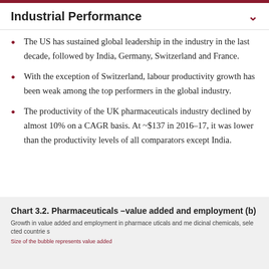Industrial Performance
The US has sustained global leadership in the industry in the last decade, followed by India, Germany, Switzerland and France.
With the exception of Switzerland, labour productivity growth has been weak among the top performers in the global industry.
The productivity of the UK pharmaceuticals industry declined by almost 10% on a CAGR basis. At ~$137 in 2016–17, it was lower than the productivity levels of all comparators except India.
Chart 3.2. Pharmaceuticals –value added and employment (b)
Growth in value added and employment in pharmaceuticals and medicinal chemicals, selected countries